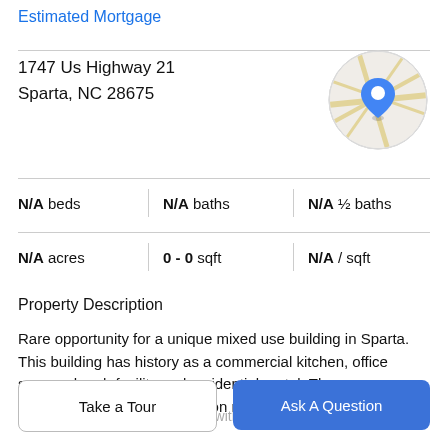Estimated Mortgage
1747 Us Highway 21
Sparta, NC 28675
[Figure (map): Circular map thumbnail with a blue location pin marker in the center, showing road lines on a light gray background.]
N/A beds | N/A baths | N/A ½ baths
N/A acres | 0 - 0 sqft | N/A / sqft
Property Description
Rare opportunity for a unique mixed use building in Sparta. This building has history as a commercial kitchen, office space, church facility and residential rental. There are currently 2 tenants. Both are on month to month lease
terms. Upstairs offers a kitchen with a commercial hood...
Take a Tour
Ask A Question